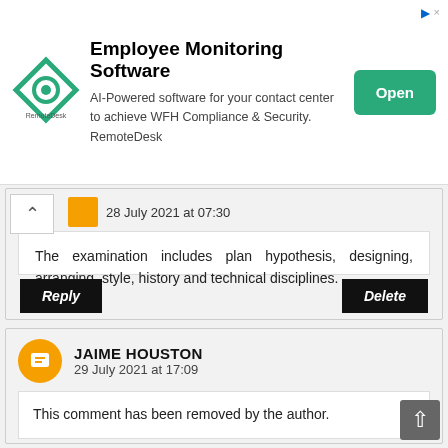[Figure (other): RemoteDesk advertisement banner with logo, headline 'Employee Monitoring Software', body text, and green Open button]
28 July 2021 at 07:30
The examination includes plan hypothesis, designing, arranging, style, history and technical disciplines.
Reply
Delete
JAIME HOUSTON
29 July 2021 at 17:09
This comment has been removed by the author.